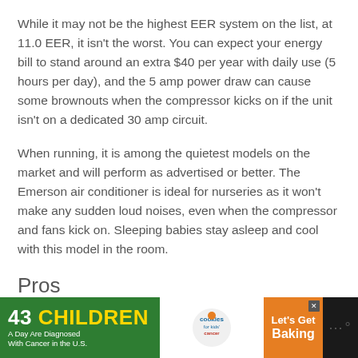While it may not be the highest EER system on the list, at 11.0 EER, it isn't the worst. You can expect your energy bill to stand around an extra $40 per year with daily use (5 hours per day), and the 5 amp power draw can cause some brownouts when the compressor kicks on if the unit isn't on a dedicated 30 amp circuit.
When running, it is among the quietest models on the market and will perform as advertised or better. The Emerson air conditioner is ideal for nurseries as it won't make any sudden loud noises, even when the compressor and fans kick on. Sleeping babies stay asleep and cool with this model in the room.
Pros
[Figure (infographic): Advertisement banner: '43 CHILDREN A Day Are Diagnosed With Cancer in the U.S.' with cookies for kids' cancer logo and 'Let's Get Baking' call to action on orange background]